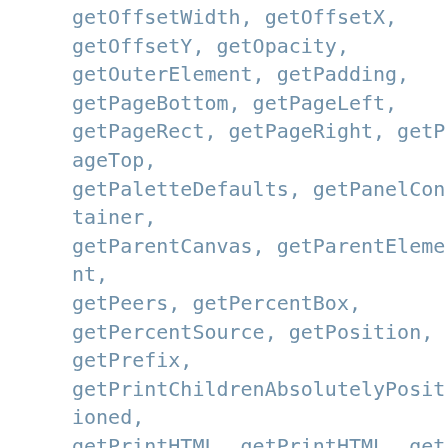getOffsetWidth, getOffsetX, getOffsetY, getOpacity, getOuterElement, getPadding, getPageBottom, getPageLeft, getPageRect, getPageRight, getPageTop, getPaletteDefaults, getPanelContainer, getParentCanvas, getParentElement, getPeers, getPercentBox, getPercentSource, getPosition, getPrefix, getPrintChildrenAbsolutelyPositioned, getPrintHTML, getPrintHTML, getPrompt, getProportionalResizeModifiers, getProportionalResizing, getRect, getRedrawOnResize, getResizeBarTarget, getResizeFrom, getRight, getRuleContext, getRuleContext, getRuleScope, getScrollbarSize, getScrollBottom, getScrollHeight, getScrollLeft, getScrollRight, getScrollTop, getScrollWidth